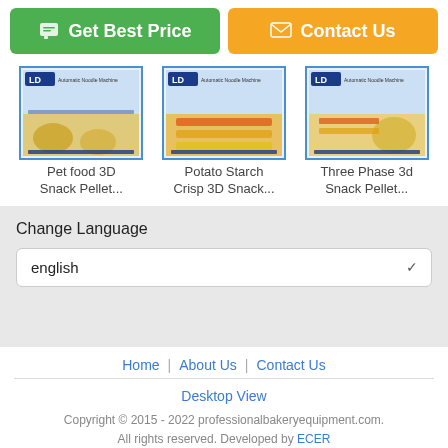Get Best Price
Contact Us
[Figure (screenshot): Product thumbnail: Pet food 3D Snack Pellet machine with LD logo]
Pet food 3D Snack Pellet...
[Figure (screenshot): Product thumbnail: Potato Starch Crisp 3D Snack machine with LD logo]
Potato Starch Crisp 3D Snack...
[Figure (screenshot): Product thumbnail: Three Phase 3d Snack Pellet machine with LD logo]
Three Phase 3d Snack Pellet...
Change Language
english
Home | About Us | Contact Us
Desktop View
Copyright © 2015 - 2022 professionalbakeryequipment.com. All rights reserved. Developed by ECER
Chat Now
Request A Quote